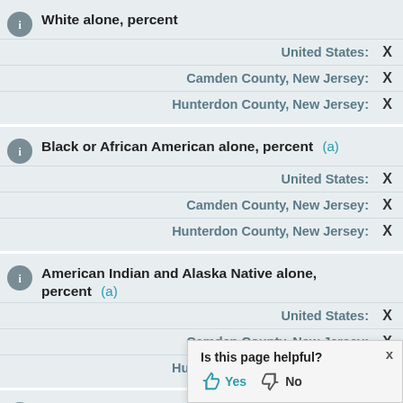White alone, percent
United States: X
Camden County, New Jersey: X
Hunterdon County, New Jersey: X
Black or African American alone, percent (a)
United States: X
Camden County, New Jersey: X
Hunterdon County, New Jersey: X
American Indian and Alaska Native alone, percent (a)
United States: X
Camden County, New Jersey: X
Hunterdon County, New Jersey: X
Asian alone, percent (a)
Is this page helpful? Yes No